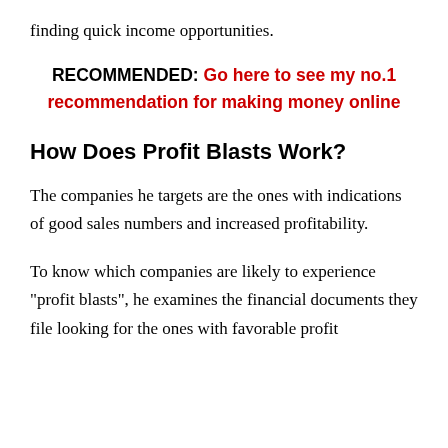finding quick income opportunities.
RECOMMENDED: Go here to see my no.1 recommendation for making money online
How Does Profit Blasts Work?
The companies he targets are the ones with indications of good sales numbers and increased profitability.
To know which companies are likely to experience "profit blasts", he examines the financial documents they file looking for the ones with favorable profit